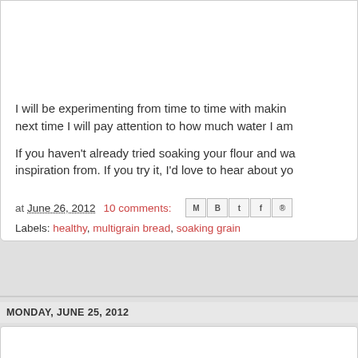[Figure (photo): Close-up photo of a rustic multigrain bread loaf on a wooden surface, showing textured brown crust]
I will be experimenting from time to time with making next time I will pay attention to how much water I am
If you haven't already tried soaking your flour and wa inspiration from. If you try it, I'd love to hear about yo
at June 26, 2012   10 comments:
Labels: healthy, multigrain bread, soaking grain
MONDAY, JUNE 25, 2012